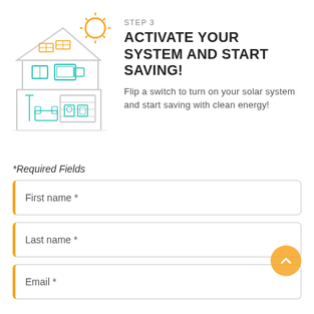[Figure (illustration): Line drawing of a two-story house with solar panels on the roof and a sun icon, in teal and orange colors]
STEP 3
ACTIVATE YOUR SYSTEM AND START SAVING!
Flip a switch to turn on your solar system and start saving with clean energy!
*Required Fields
First name *
Last name *
Email *